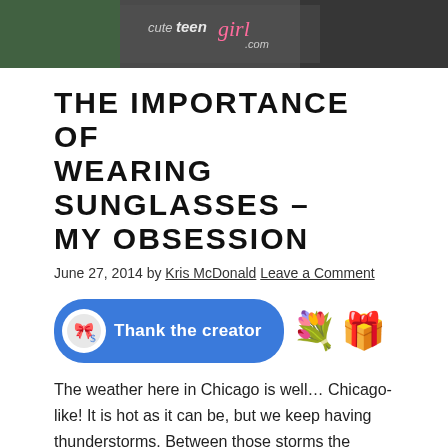[Figure (photo): Header image with blog logo text 'cuteteengirl.com' overlaid on a dark background]
THE IMPORTANCE OF WEARING SUNGLASSES – MY OBSESSION
June 27, 2014 by Kris McDonald Leave a Comment
[Figure (infographic): Blue rounded button with creator icon and text 'Thank the creator', followed by bouquet and gift box emojis]
The weather here in Chicago is well... Chicago-like! It is hot as it can be, but we keep having thunderstorms. Between those storms the weather is humid and the sun is shining. I love summer. I love the warmth, the beauty, and being able to go out without wearing 5 layers. And I love being able to dress cute and actually show my